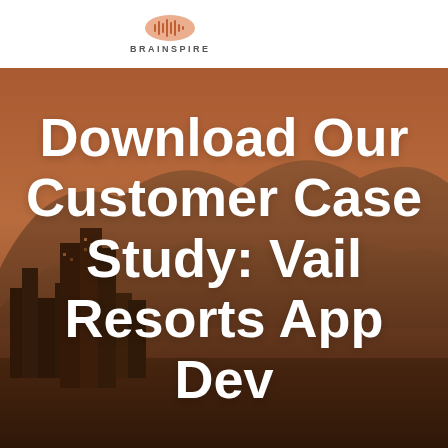[Figure (logo): Brainspire logo: orange soundwave/brain icon above the text BRAINSPIRE in spaced caps]
[Figure (photo): City skyline with mountains in the background, warm orange/brown dusk tones — Denver or similar Rocky Mountain city]
Download Our Customer Case Study: Vail Resorts App Dev